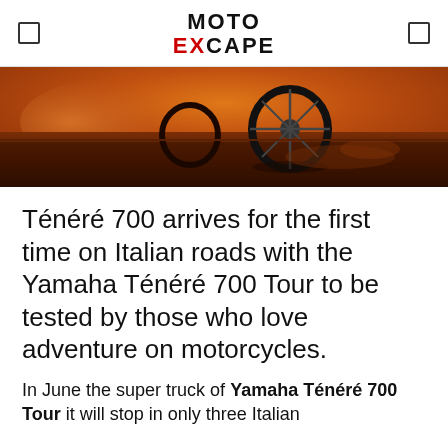MOTO EXCAPE
[Figure (photo): Close-up low-angle shot of a motorcycle wheel on a dusty orange/red dirt road with dust clouds in the warm amber background]
Ténéré 700 arrives for the first time on Italian roads with the Yamaha Ténéré 700 Tour to be tested by those who love adventure on motorcycles.
In June the super truck of Yamaha Ténéré 700 Tour it will stop in only three Italian